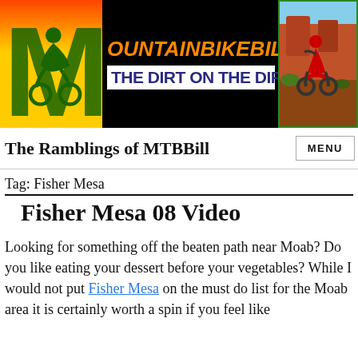[Figure (logo): MountainBikeBill.com website header banner with logo M, orange italic site name, blue tagline 'THE DIRT ON THE DIRT', and mountain biker photo]
The Ramblings of MTBBill
Tag: Fisher Mesa
Fisher Mesa 08 Video
Looking for something off the beaten path near Moab? Do you like eating your dessert before your vegetables? While I would not put Fisher Mesa on the must do list for the Moab area it is certainly worth a spin if you feel like